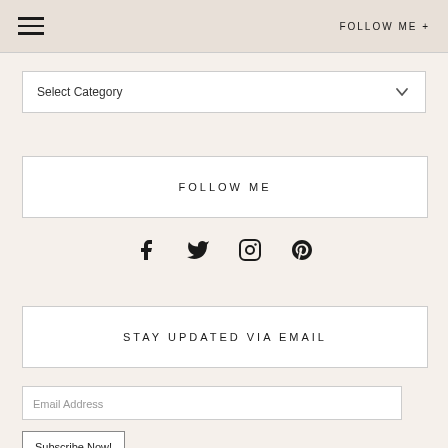FOLLOW ME +
Select Category
FOLLOW ME
[Figure (infographic): Social media icons: Facebook, Twitter, Instagram, Pinterest]
STAY UPDATED VIA EMAIL
Email Address
Subscribe Now!